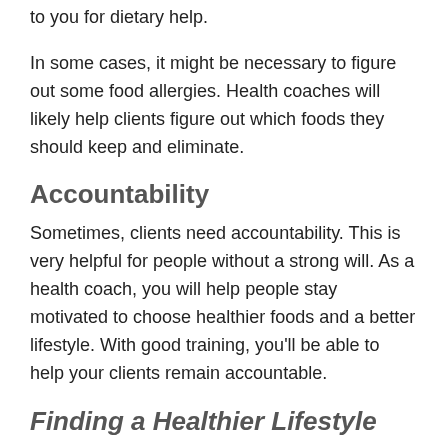to you for dietary help.
In some cases, it might be necessary to figure out some food allergies. Health coaches will likely help clients figure out which foods they should keep and eliminate.
Accountability
Sometimes, clients need accountability. This is very helpful for people without a strong will. As a health coach, you will help people stay motivated to choose healthier foods and a better lifestyle. With good training, you'll be able to help your clients remain accountable.
Finding a Healthier Lifestyle